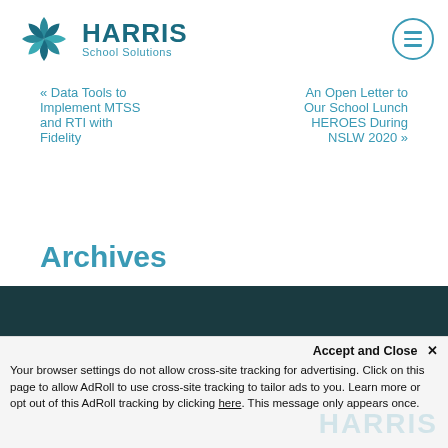[Figure (logo): Harris School Solutions logo with teal pinwheel icon and text]
« Data Tools to Implement MTSS and RTI with Fidelity
An Open Letter to Our School Lunch HEROES During NSLW 2020 »
Archives
Select Month
Your browser settings do not allow cross-site tracking for advertising. Click on this page to allow AdRoll to use cross-site tracking to tailor ads to you. Learn more or opt out of this AdRoll tracking by clicking here. This message only appears once.